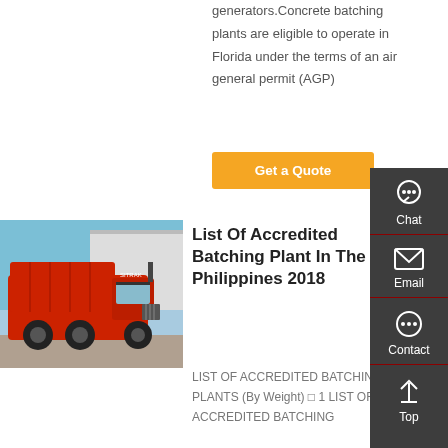generators.Concrete batching plants are eligible to operate in Florida under the terms of an air general permit (AGP)
Get a Quote
[Figure (photo): Red heavy-duty dump truck parked outdoors against a white building and blue sky]
List Of Accredited Batching Plant In The Philippines 2018
LIST OF ACCREDITED BATCHING PLANTS (By Weight) □ 1 LIST OF ACCREDITED BATCHING
[Figure (infographic): Sidebar with Chat, Email, Contact, and Top buttons on dark grey background]